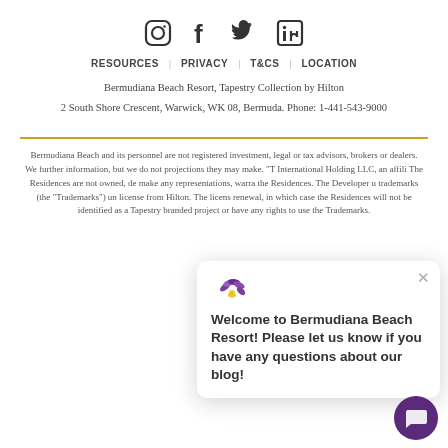[Figure (illustration): Social media icons: Instagram, Facebook, Twitter, LinkedIn]
RESOURCES   PRIVACY   T&CS   LOCATION
Bermudiana Beach Resort, Tapestry Collection by Hilton
2 South Shore Crescent, Warwick, WK 08, Bermuda. Phone: 1-441-543-9000
Bermudiana Beach and its personnel are not registered investment, legal or tax advisors, brokers or dealers. We further information, but we do not projections they may make. "T International Holding LLC, an affili The Residences are not owned, de make any representations, warra the Residences. The Developer u trademarks (the "Trademarks") un license from Hilton. The licens renewal, in which case the Residences will not be identified as a Tapestry branded project or have any rights to use the Trademarks.
[Figure (screenshot): Chat popup: Welcome to Bermudiana Beach Resort! Please let us know if you have any questions about our blog!]